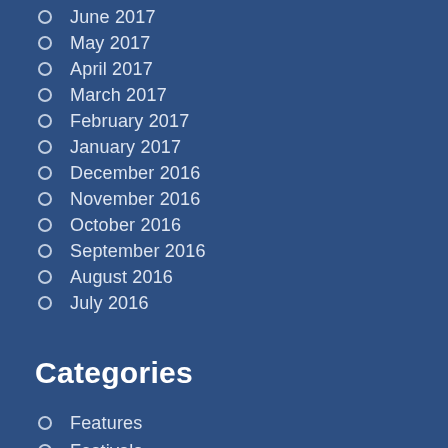June 2017
May 2017
April 2017
March 2017
February 2017
January 2017
December 2016
November 2016
October 2016
September 2016
August 2016
July 2016
Categories
Features
Festivals